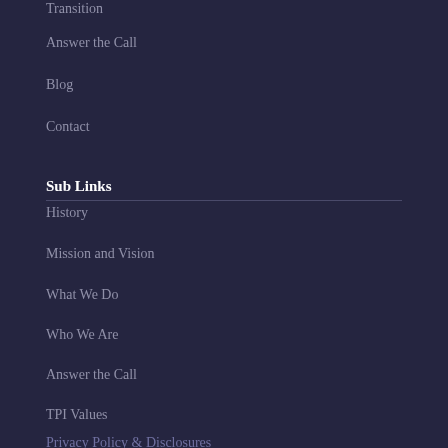Transition
Answer the Call
Blog
Contact
Sub Links
History
Mission and Vision
What We Do
Who We Are
Answer the Call
TPI Values
Privacy Policy & Disclosures